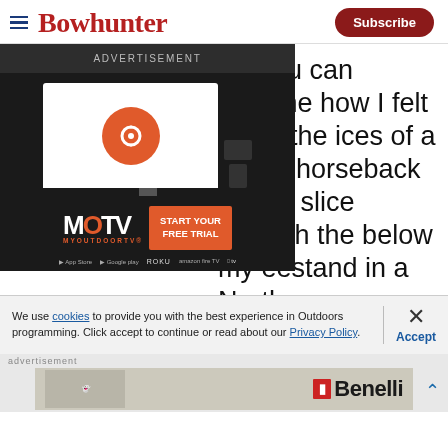Bowhunter | Subscribe
So you can imagine how I felt when the ices of a family horseback began slice through the below my eestand in a North
[Figure (screenshot): ADVERTISEMENT banner with MOTV (MyOutdoorTV) ad showing a TV screen with orange circle logo, tablet and phone devices, MOTV logo, and START YOUR FREE TRIAL button with platform icons (App Store, Google Play, ROKU, Amazon Fire TV, Apple TV)]
We use cookies to provide you with the best experience in Outdoors programming. Click accept to continue or read about our Privacy Policy.
[Figure (screenshot): Benelli advertisement showing a person on a bicycle/ATV in a snowy landscape with the Benelli logo]
Advertisement